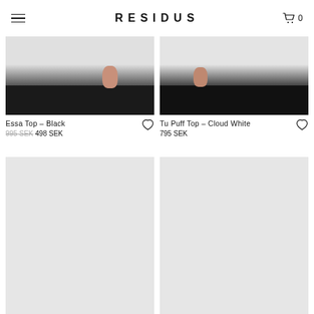RESIDUS
[Figure (photo): Product photo of Essa Top in Black — cropped lower torso/legs view of model wearing black clothing against light grey background]
Essa Top – Black
995 SEK 498 SEK
[Figure (photo): Product photo of Tu Puff Top in Cloud White — cropped lower torso view of model wearing black pants against light grey background]
Tu Puff Top – Cloud White
795 SEK
[Figure (photo): Loading/placeholder product image — light grey rectangle]
[Figure (photo): Loading/placeholder product image — light grey rectangle]